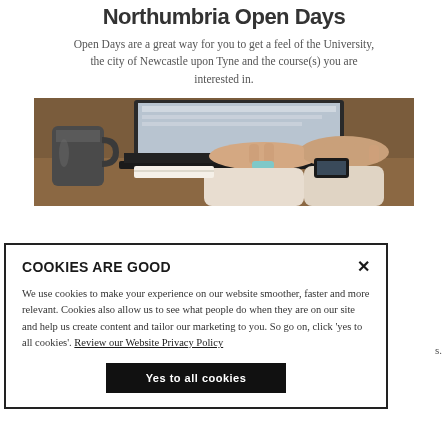Northumbria Open Days
Open Days are a great way for you to get a feel of the University, the city of Newcastle upon Tyne and the course(s) you are interested in.
[Figure (photo): Person typing on a laptop with a mug nearby, viewed from the side]
COOKIES ARE GOOD
We use cookies to make your experience on our website smoother, faster and more relevant. Cookies also allow us to see what people do when they are on our site and help us create content and tailor our marketing to you. So go on, click 'yes to all cookies'. Review our Website Privacy Policy
Yes to all cookies